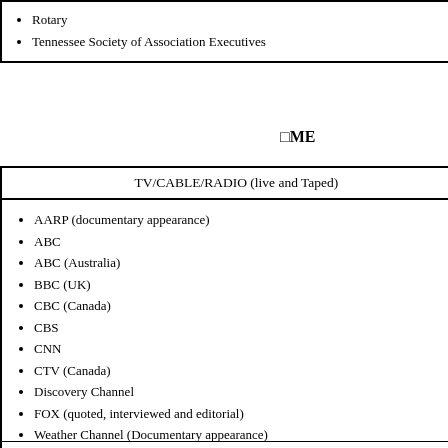|  |  |
| --- | --- |
| • Rotary
• Tennessee Society of Association Executives |  |
□ME
| TV/CABLE/RADIO (live and Taped) | INTER |
| --- | --- |
| • AARP (documentary appearance)
• ABC
• ABC (Australia)
• BBC (UK)
• CBC (Canada)
• CBS
• CNN
• CTV (Canada)
• Discovery Channel
• FOX (quoted, interviewed and editorial)
• Weather Channel (Documentary appearance) | • Outside Onl... and editoria...
• NPR (TV In... |